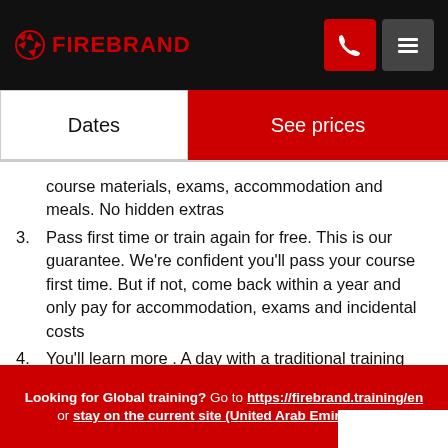FIREBRAND
Dates | See prices
course materials, exams, accommodation and meals. No hidden extras
3. Pass first time or train again for free. This is our guarantee. We're confident you'll pass your course first time. But if not, come back within a year and only pay for accommodation, exams and incidental costs
4. You'll learn more . A day with a traditional training provider generally runs from 9am – 5pm, with a
Looking for Global training? Go to https://firebrand.training/en or stay on the current site (United Arab Emirates) X